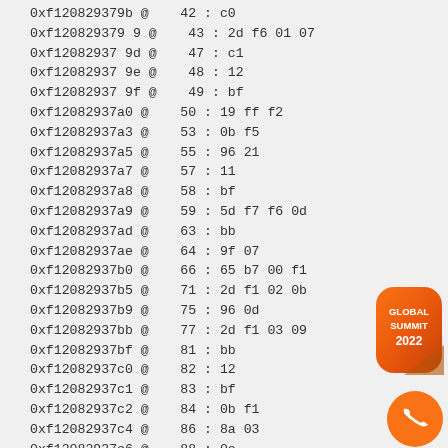0xf120829379b @ 42 : c0
0xf120829379 @ 43 : 2d f6 01 07
0xf12082937 9d @ 47 : c1
0xf12082937 9e @ 48 : 12
0xf12082937 9f @ 49 : bf
0xf12082937a0 @ 50 : 19 ff f2
0xf12082937a3 @ 53 : 0b f5
0xf12082937a5 @ 55 : 96 21
0xf12082937a7 @ 57 : 11
0xf12082937a8 @ 58 : bf
0xf12082937a9 @ 59 : 5d f7 f6 0d
0xf12082937ad @ 63 : bb
0xf12082937ae @ 64 : 9f 07
0xf12082937b0 @ 66 : 65 b7 00 f1
0xf12082937b5 @ 71 : 2d f1 02 0b
0xf12082937b9 @ 75 : 96 0d
0xf12082937bb @ 77 : 2d f1 03 09
0xf12082937bf @ 81 : bb
0xf12082937c0 @ 82 : 12
0xf12082937c1 @ 83 : bf
0xf12082937c2 @ 84 : 0b f1
0xf12082937c4 @ 86 : 8a 03
0xf12082937c6 @ 88 : 0e
[Figure (logo): Global Summit 2022 badge - orange rounded rectangle with white text]
[Figure (logo): Orange circle with white phone/call icon]